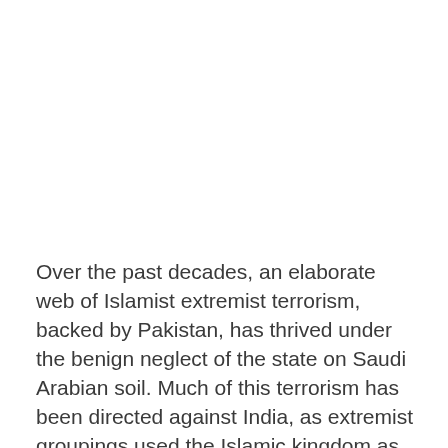Over the past decades, an elaborate web of Islamist extremist terrorism, backed by Pakistan, has thrived under the benign neglect of the state on Saudi Arabian soil. Much of this terrorism has been directed against India, as extremist groupings used the Islamic kingdom as safe haven, recruiting ground and source of generous funding, even as a regime of official denial and collusion with Pakistan stonewalled Indian efforts to bring fugitives to